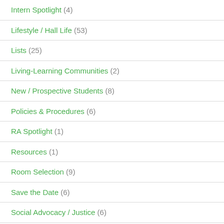Intern Spotlight (4)
Lifestyle / Hall Life (53)
Lists (25)
Living-Learning Communities (2)
New / Prospective Students (8)
Policies & Procedures (6)
RA Spotlight (1)
Resources (1)
Room Selection (9)
Save the Date (6)
Social Advocacy / Justice (6)
Staff Spotlight (1)